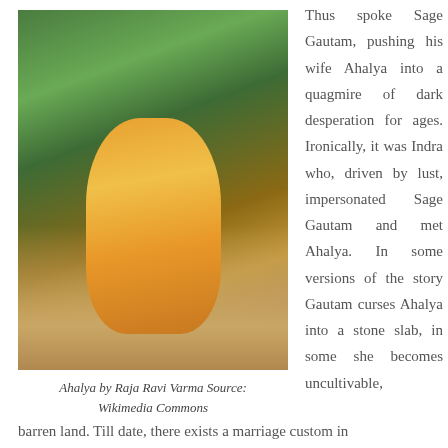[Figure (illustration): Painting of Ahalya by Raja Ravi Varma, showing a woman in a yellow sari reaching up near a tree by a river, with a bird in the background.]
Ahalya by Raja Ravi Varma Source: Wikimedia Commons
Thus spoke Sage Gautam, pushing his wife Ahalya into a quagmire of dark desperation for ages. Ironically, it was Indra who, driven by lust, impersonated Sage Gautam and met Ahalya. In some versions of the story Gautam curses Ahalya into a stone slab, in some she becomes uncultivable,
barren land. Till date, there exists a marriage custom in